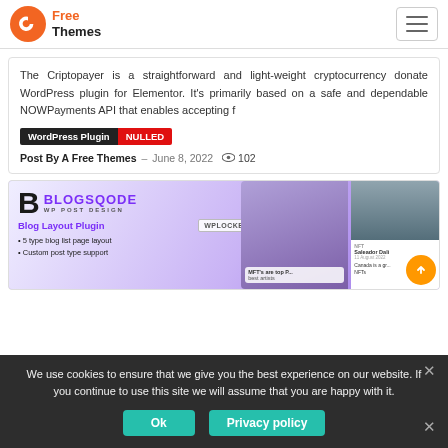A Free Themes
The Criptopayer is a straightforward and light-weight cryptocurrency donate WordPress plugin for Elementor. It’s primarily based on a safe and dependable NOWPayments API that enables accepting f
WordPress Plugin  NULLED
Post By A Free Themes – June 8, 2022  102
[Figure (screenshot): BLOGSQODE WP POST DESIGN - Blog Layout Plugin banner with purple background showing features: 5 type blog list page layout, Custom post type support. WPLOCKER.PRO watermark visible.]
We use cookies to ensure that we give you the best experience on our website. If you continue to use this site we will assume that you are happy with it.
Ok   Privacy policy